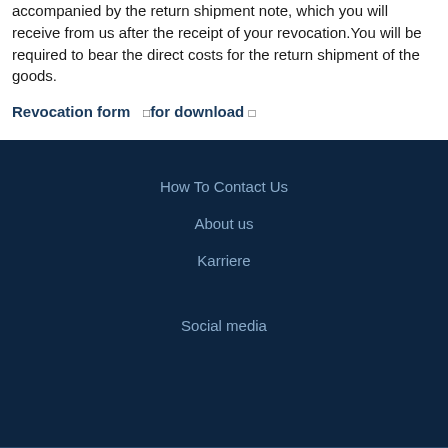accompanied by the return shipment note, which you will receive from us after the receipt of your revocation.You will be required to bear the direct costs for the return shipment of the goods.
Revocation form  ☐for download ☐
How To Contact Us
About us
Karriere
Social media